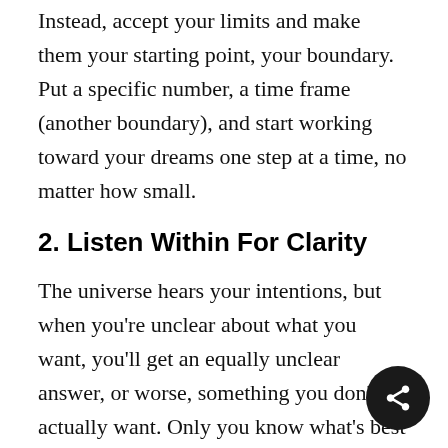Instead, accept your limits and make them your starting point, your boundary. Put a specific number, a time frame (another boundary), and start working toward your dreams one step at a time, no matter how small.
2. Listen Within For Clarity
The universe hears your intentions, but when you're unclear about what you want, you'll get an equally unclear answer, or worse, something you don't actually want. Only you know what's best for you, and your spirit guides can help you get there – you just get into a deep quiet to listen to their